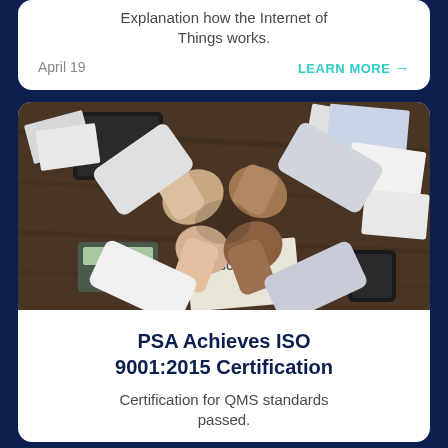Explanation how the Internet of Things works.
April 19
LEARN MORE →
[Figure (photo): Overhead view of four people doing a fist bump over a wooden table covered with papers, a tablet, notebooks, a calculator, and a smartphone.]
PSA Achieves ISO 9001:2015 Certification
Certification for QMS standards passed.